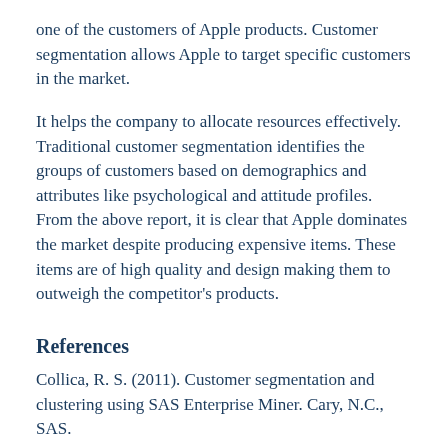one of the customers of Apple products. Customer segmentation allows Apple to target specific customers in the market.
It helps the company to allocate resources effectively. Traditional customer segmentation identifies the groups of customers based on demographics and attributes like psychological and attitude profiles. From the above report, it is clear that Apple dominates the market despite producing expensive items. These items are of high quality and design making them to outweigh the competitor's products.
References
Collica, R. S. (2011). Customer segmentation and clustering using SAS Enterprise Miner. Cary, N.C., SAS.